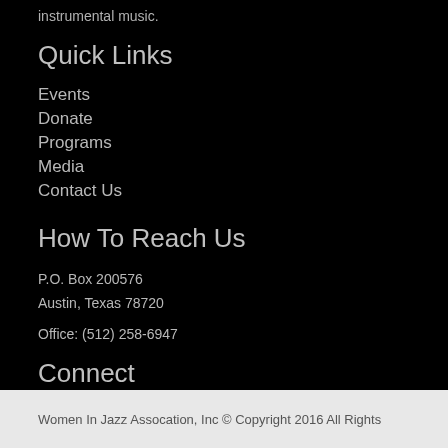instrumental music.
Quick Links
Events
Donate
Programs
Media
Contact Us
How To Reach Us
P.O. Box 200576
Austin, Texas 78720
Office: (512) 258-6947
Connect
@Womeninjazzaustin
@womeninjazzatx
Women In Jazz Assocation, Inc © Copyright 2016 All Rights